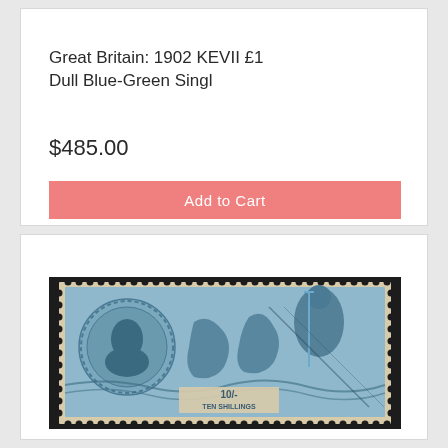Great Britain: 1902 KEVII £1 Dull Blue-Green Singl
$485.00
Add to Cart
[Figure (photo): Used British postage stamp showing King George V portrait medallion on left, Britannia riding seahorses in center and right, labeled '10/' and 'TEN SHILLINGS' at bottom. Stamp is blue-grey on cream/pale yellow, with perforated edges, appears used with cancel mark.]